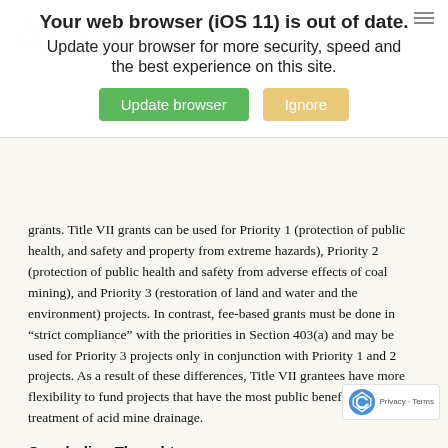[Figure (screenshot): Browser update notification overlay with title 'Your web browser (iOS 11) is out of date. Update your browser for more security, speed and the best experience on this site.' with green 'Update browser' button and tan 'Ignore' button.]
grants. Title VII grants can be used for Priority 1 (protection of public health, and safety and property from extreme hazards), Priority 2 (protection of public health and safety from adverse effects of coal mining), and Priority 3 (restoration of land and water and the environment) projects. In contrast, fee-based grants must be done in “strict compliance” with the priorities in Section 403(a) and may be used for Priority 3 projects only in conjunction with Priority 1 and 2 projects. As a result of these differences, Title VII grantees have more flexibility to fund projects that have the most public benefit, including treatment of acid mine drainage.
Concluding Thoughts
The Office of Surface Mining Control Reclamation and Enforcement and its State and Indian Tribal counterparts have a shared commitment to working cooperatively to reclaim pre-SMCRA mined lands. Throughout the forty plus years, States and Indian Tribes never had sufficient money to accomplish their goals. The bounty from Title VII will allow a great deal of progress, more than almost anyone could have reasonably anticipated. It will bring good jobs, help the rural economies, improve the environment and make the coal fields a safer